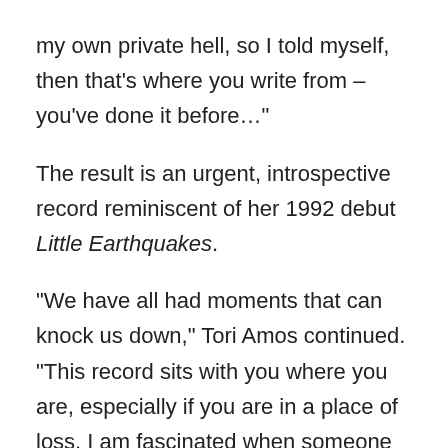my own private hell, so I told myself, then that's where you write from – you've done it before…"
The result is an urgent, introspective record reminiscent of her 1992 debut Little Earthquakes.
“We have all had moments that can knock us down,” Tori Amos continued. “This record sits with you where you are, especially if you are in a place of loss. I am fascinated when someone has gone through a tragedy, and how they work through their grief. That is where the gold is. When somebody is actually at that place, thinking ‘I’m done,’ how do you reach that person? Sometimes it’s not about a pill, or a double shot of tequila. It’s about sitting in the muck together. I’m going to meet you in the